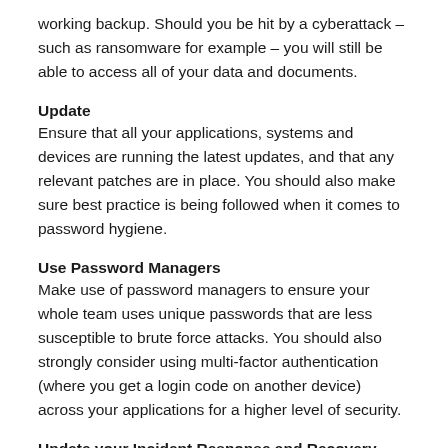working backup. Should you be hit by a cyberattack – such as ransomware for example – you will still be able to access all of your data and documents.
Update
Ensure that all your applications, systems and devices are running the latest updates, and that any relevant patches are in place. You should also make sure best practice is being followed when it comes to password hygiene.
Use Password Managers
Make use of password managers to ensure your whole team uses unique passwords that are less susceptible to brute force attacks. You should also strongly consider using multi-factor authentication (where you get a login code on another device) across your applications for a higher level of security.
Update your Incident Response and Recovery plan
Check your incident response and recovery plan is up-to-date and that everyone is aware of the steps they should take if they